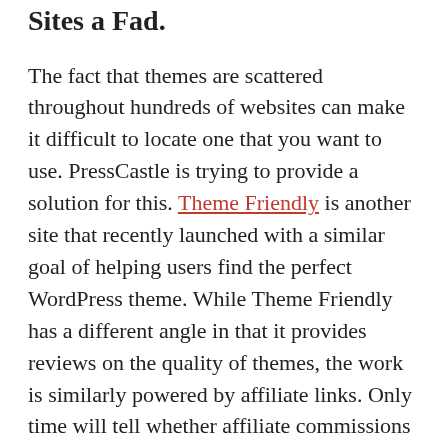Sites a Fad.
The fact that themes are scattered throughout hundreds of websites can make it difficult to locate one that you want to use. PressCastle is trying to provide a solution for this. Theme Friendly is another site that recently launched with a similar goal of helping users find the perfect WordPress theme. While Theme Friendly has a different angle in that it provides reviews on the quality of themes, the work is similarly powered by affiliate links. Only time will tell whether affiliate commissions will be adequate compensation for the amount of effort required to keep these indexes current.
Theme indexing sites seem to be popping up quite